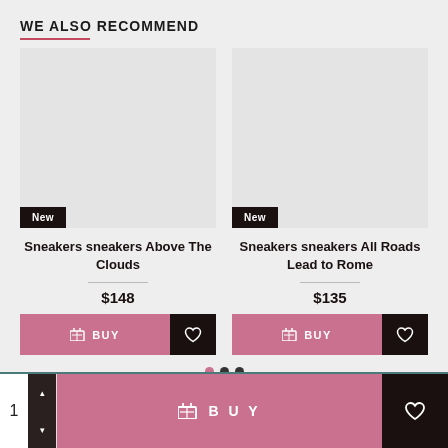WE ALSO RECOMMEND
[Figure (screenshot): Two product cards side by side showing sneaker products with New badges, prices, BUY buttons and heart icons]
New
Sneakers sneakers Above The Clouds
$148
New
Sneakers sneakers All Roads Lead to Rome
$135
1
BUY